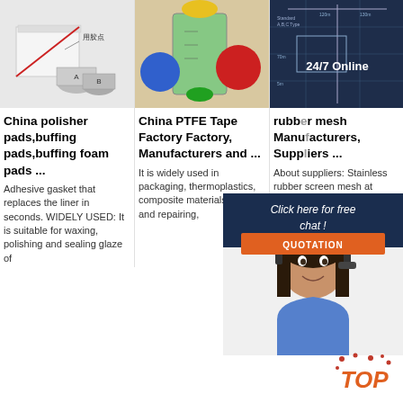[Figure (photo): Product image showing polisher/buffing pads packaging with containers labeled A and B, with Chinese text 用胶点]
[Figure (photo): Colorful measuring cups or beakers with blue, yellow, green, red lids]
[Figure (photo): Technical engineering diagram showing Standard A, B, C Types with 24/7 Online text overlay]
[Figure (photo): Customer service representative woman with headset smiling, with chat overlay showing Click here for free chat and QUOTATION button]
China polisher pads,buffing pads,buffing foam pads ...
China PTFE Tape Factory Factory, Manufacturers and ...
rubber mesh Manufacturers, Suppliers ...
Adhesive gasket that replaces the liner in seconds. WIDELY USED: It is suitable for waxing, polishing and sealing glaze of
It is widely used in packaging, thermoplastics, composite materials, sealing and repairing,
About suppliers: Stainless rubber screen mesh at Alibaba.com are multi-functional wires that can serve a lot of varied purposes